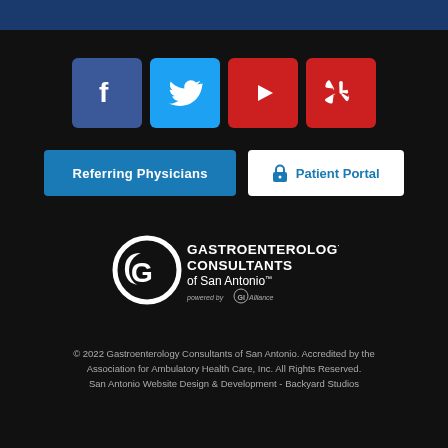[Figure (logo): Social media icons row: Facebook (blue), Twitter (light blue), YouTube (red play button), Yelp (red)]
[Figure (other): Two buttons: 'Referring Physicians' (blue) and 'Patient Portal' (white with lock icon)]
[Figure (logo): Gastroenterology Consultants of San Antonio logo with GI Alliance tagline]
© 2022 Gastroenterology Consultants of San Antonio. Accredited by the Association for Ambulatory Health Care, Inc. All Rights Reserved. San Antonio Website Design & Development - Backyard Studios